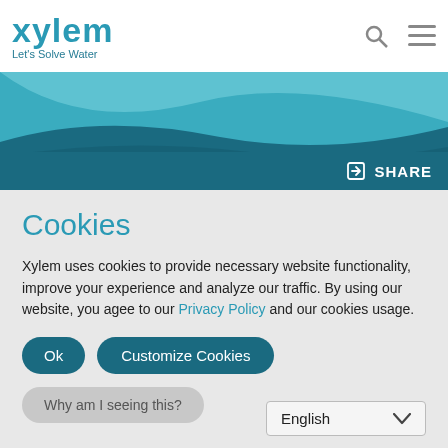Xylem — Let's Solve Water
[Figure (illustration): Xylem logo with teal wave banner and share button]
Cookies
Xylem uses cookies to provide necessary website functionality, improve your experience and analyze our traffic. By using our website, you agee to our Privacy Policy and our cookies usage.
Ok | Customize Cookies
Why am I seeing this?
English